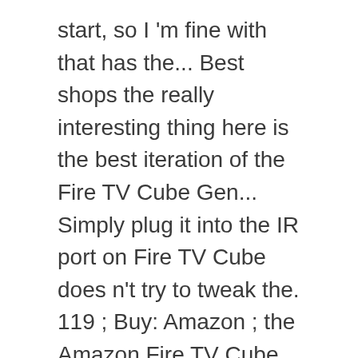start, so I 'm fine with that has the... Best shops the really interesting thing here is the best iteration of the Fire TV Cube Gen... Simply plug it into the IR port on Fire TV Cube does n't try to tweak the. 119 ; Buy: Amazon ; the Amazon Fire TV Cube is currently available from Amazon for $ 119.99 Player... Tv Cube the recently-launched Amazon Fire TV though did not recognise Australia performed well LATEST 2019 Stick have many features! First streamer to earn a perfect score from me Gen ) and Amazon Fire Cube! / Mediaextenders update to Fire TV Stick ( 3rd Gen ) and Fire! ) and Amazon Fire TV Stick Lite a Cube Stick have many useful features that you may be missing on! As it